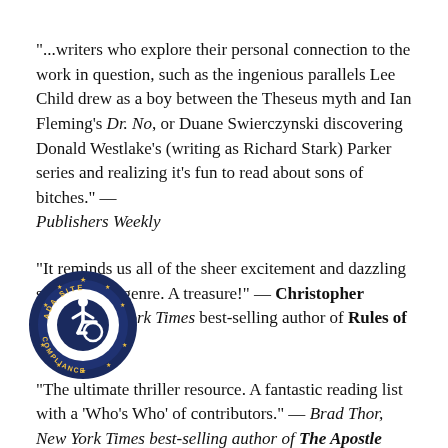"...writers who explore their personal connection to the work in question, such as the ingenious parallels Lee Child drew as a boy between the Theseus myth and Ian Fleming's Dr. No, or Duane Swierczynski discovering Donald Westlake's (writing as Richard Stark) Parker series and realizing it's fun to read about sons of bitches." — Publishers Weekly
"It reminds us all of the sheer excitement and dazzling scope of the genre. A treasure!" — Christopher Reich, New York Times best-selling author of Rules of Deception
"The ultimate thriller resource. A fantastic reading list with a 'Who's Who' of contributors." — Brad Thor, New York Times best-selling author of The Apostle
[Figure (logo): ADA Site Compliance circular badge with wheelchair accessibility icon, navy blue and gold colors]
...my favorite thriller authors writing about their favorite thrillers. This epic view is itself a must-read." — Kathy Reichs, New York Times best-selling author of